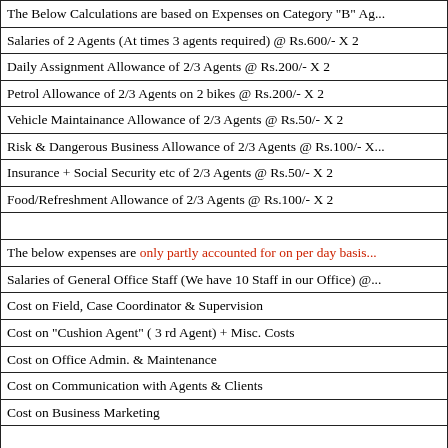| The Below Calculations are based on Expenses on Category "B" Ag... |
| Salaries of 2 Agents (At times 3 agents required) @ Rs.600/- X 2 |
| Daily Assignment Allowance of 2/3 Agents @ Rs.200/- X 2 |
| Petrol Allowance of 2/3 Agents on 2 bikes @ Rs.200/- X 2 |
| Vehicle Maintainance Allowance of 2/3 Agents @ Rs.50/- X 2 |
| Risk & Dangerous Business Allowance of 2/3 Agents @ Rs.100/- X... |
| Insurance + Social Security etc of 2/3 Agents @ Rs.50/- X 2 |
| Food/Refreshment Allowance of 2/3 Agents @ Rs.100/- X 2 |
| (empty) |
| The below expenses are only partly accounted for on per day basis... |
| Salaries of General Office Staff (We have 10 Staff in our Office) @... |
| Cost on Field, Case Coordinator & Supervision |
| Cost on "Cushion Agent" ( 3 rd Agent) + Misc. Costs |
| Cost on Office Admin. & Maintenance |
| Cost on Communication with Agents & Clients |
| Cost on Business Marketing |
| (empty) |
| Our Company's Profits which should be atleast 10% |
| Grand Total of Co... |